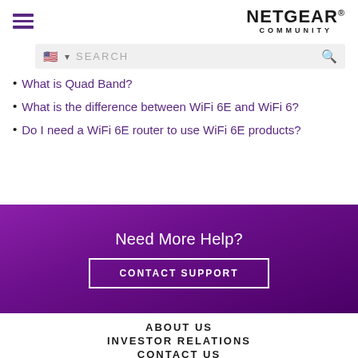NETGEAR COMMUNITY
[Figure (screenshot): Search bar with US flag icon and search magnifier icon on grey background]
What is Quad Band?
What is the difference between WiFi 6E and WiFi 6?
Do I need a WiFi 6E router to use WiFi 6E products?
Need More Help?
CONTACT SUPPORT
ABOUT US
INVESTOR RELATIONS
CONTACT US